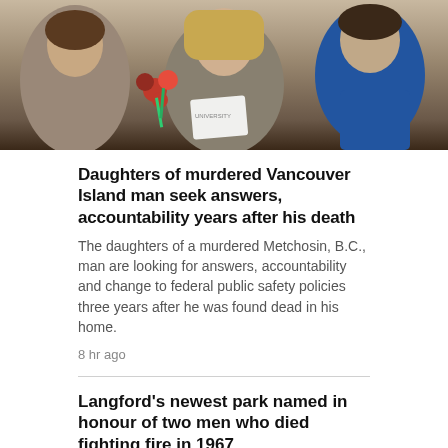[Figure (photo): Photo of two women and a man posing together, one woman holding red roses and a certificate or document]
Daughters of murdered Vancouver Island man seek answers, accountability years after his death
The daughters of a murdered Metchosin, B.C., man are looking for answers, accountability and change to federal public safety policies three years after he was found dead in his home.
8 hr ago
Langford's newest park named in honour of two men who died fighting fire in 1967
8 hr ago
['Bit of a miracle': Man escapes house fire in